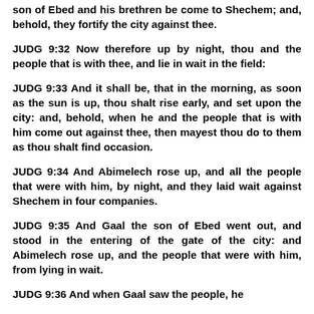son of Ebed and his brethren be come to Shechem; and, behold, they fortify the city against thee.
JUDG 9:32 Now therefore up by night, thou and the people that is with thee, and lie in wait in the field:
JUDG 9:33 And it shall be, that in the morning, as soon as the sun is up, thou shalt rise early, and set upon the city: and, behold, when he and the people that is with him come out against thee, then mayest thou do to them as thou shalt find occasion.
JUDG 9:34 And Abimelech rose up, and all the people that were with him, by night, and they laid wait against Shechem in four companies.
JUDG 9:35 And Gaal the son of Ebed went out, and stood in the entering of the gate of the city: and Abimelech rose up, and the people that were with him, from lying in wait.
JUDG 9:36 And when Gaal saw the people, he